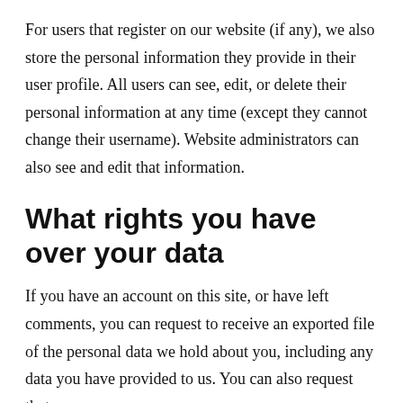For users that register on our website (if any), we also store the personal information they provide in their user profile. All users can see, edit, or delete their personal information at any time (except they cannot change their username). Website administrators can also see and edit that information.
What rights you have over your data
If you have an account on this site, or have left comments, you can request to receive an exported file of the personal data we hold about you, including any data you have provided to us. You can also request that we erase any